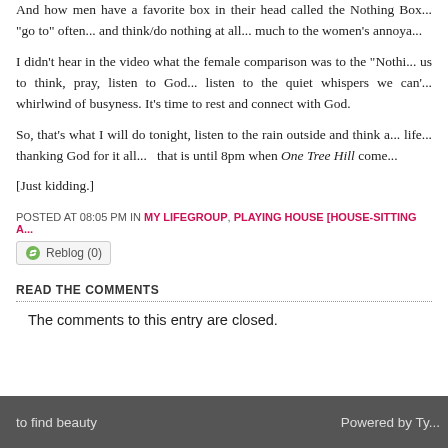And how men have a favorite box in their head called the Nothing Box... "go to" often... and think/do nothing at all... much to the women's annoya...
I didn't hear in the video what the female comparison was to the "Nothi... us to think, pray, listen to God... listen to the quiet whispers we can'... whirlwind of busyness. It's time to rest and connect with God.
So, that's what I will do tonight, listen to the rain outside and think a... life... thanking God for it all...   that is until 8pm when One Tree Hill come...
[Just kidding.]
POSTED AT 08:05 PM IN MY LIFEGROUP, PLAYING HOUSE [HOUSE-SITTING A...
Reblog (0)
READ THE COMMENTS
The comments to this entry are closed.
to find beauty   Powered by Ty...